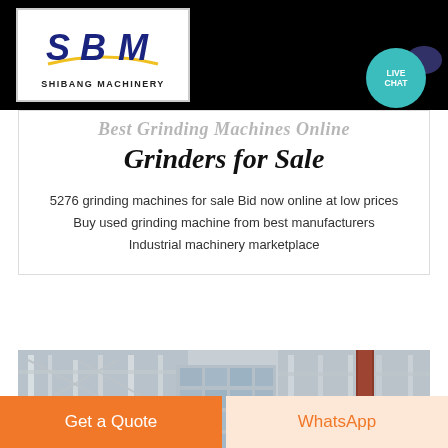[Figure (logo): SBM Shibang Machinery logo — blue stylized SBM letters with gold arc underneath, text SHIBANG MACHINERY below]
[Figure (infographic): Teal circular Live Chat bubble with speech icon, top-right corner of black header]
Grinders for Sale
5276 grinding machines for sale Bid now online at low prices Buy used grinding machine from best manufacturers Industrial machinery marketplace
[Figure (photo): Industrial factory building exterior with steel frame structure, glass windows and a dark red chimney/column]
Get a Quote
WhatsApp